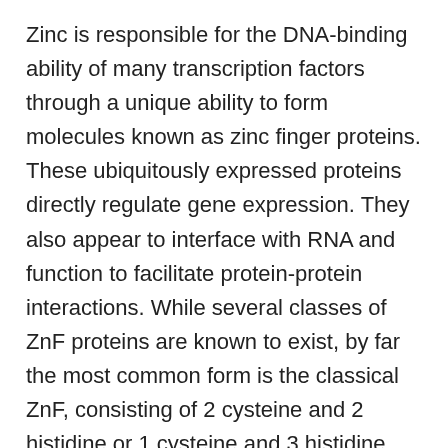Zinc is responsible for the DNA-binding ability of many transcription factors through a unique ability to form molecules known as zinc finger proteins. These ubiquitously expressed proteins directly regulate gene expression. They also appear to interface with RNA and function to facilitate protein-protein interactions. While several classes of ZnF proteins are known to exist, by far the most common form is the classical ZnF, consisting of 2 cysteine and 2 histidine or 1 cysteine and 3 histidine residues centralized around a zinc ion with a short b-hairpin and an a-helix incorporated into the structure. The conformation of ZnFs centers around the coordinated zinc ion and provides the molecule with the potential to form a finger-like structure that is capable of binding tightly with specific DNA sequence domains .
Other zinc finger transcription factors that are clearly involved in neuronal function include the thyroid hormone